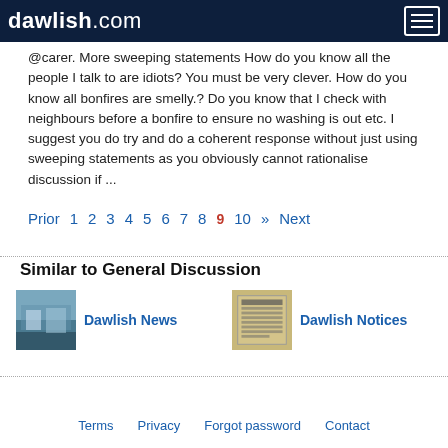dawlish.com
@carer. More sweeping statements How do you know all the people I talk to are idiots? You must be very clever. How do you know all bonfires are smelly.? Do you know that I check with neighbours before a bonfire to ensure no washing is out etc. I suggest you do try and do a coherent response without just using sweeping statements as you obviously cannot rationalise discussion if ...
Prior 1 2 3 4 5 6 7 8 9 10 » Next
Similar to General Discussion
[Figure (photo): Thumbnail photo for Dawlish News]
Dawlish News
[Figure (photo): Thumbnail image for Dawlish Notices]
Dawlish Notices
Terms   Privacy   Forgot password   Contact